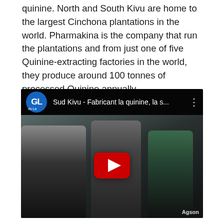quinine. North and South Kivu are home to the largest Cinchona plantations in the world. Pharmakina is the company that run the plantations and from just one of five Quinine-extracting factories in the world, they produce around 100 tonnes of processed Quinine annually.
[Figure (screenshot): Embedded YouTube video thumbnail showing 'Sud Kivu - Fabricant la quinine, la s...' with GL channel logo, a group of men in a scene from a news report, and a YouTube play button overlay. Watermark 'Agson' visible in bottom right.]